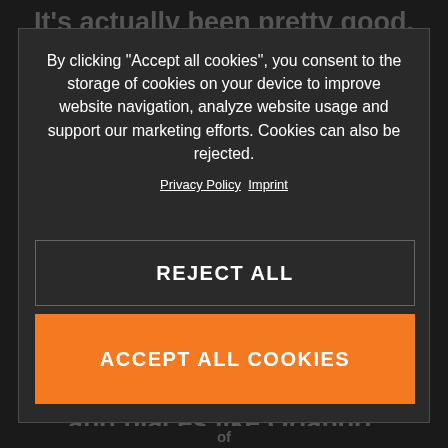It's actually been pretty good. Having multiple races at one venue and not being able to get out and practice during the week has been an equalizer for everyone.
By clicking “Accept all cookies”, you consent to the storage of cookies on your device to improve website navigation, analyze website usage and support our marketing efforts. Cookies can also be rejected.
Privacy Policy  Imprint
to come at it’s when I think having great preparation – and being able to maintain it – meant he could build momentum. When we went closer to the warmer states and places like Orlando, Daytona and Dallas, it just seemed to catch fire. He was a step ahead of
REJECT ALL
ACCEPT ALL COOKIES
of